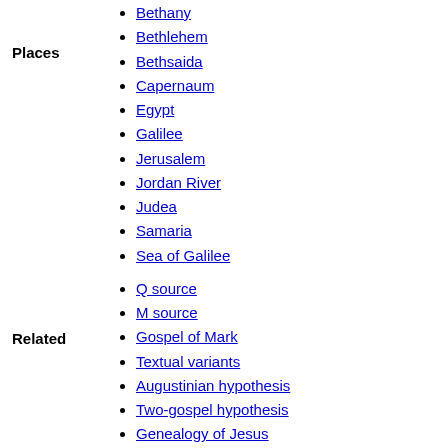Bethany
Bethlehem
Bethsaida
Capernaum
Egypt
Galilee
Jerusalem
Jordan River
Judea
Samaria
Sea of Galilee
Q source
M source
Gospel of Mark
Textual variants
Augustinian hypothesis
Two-gospel hypothesis
Genealogy of Jesus
Five Discourses of Matthew
Greek Text
Latin Vulgate
Wycliffe Version
King James Version
American Standard Version